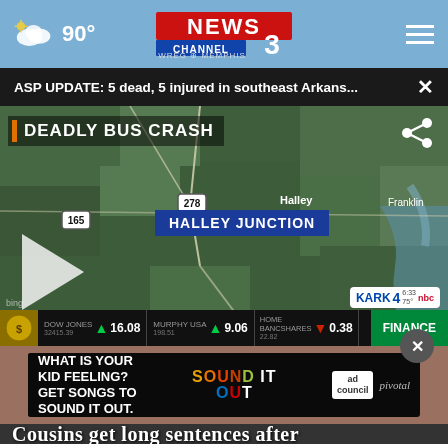90° NEWS CHANNEL 3 WREG MEMPHIS
ASP UPDATE: 5 dead, 5 injured in southeast Arkans...
[Figure (screenshot): Aerial map screenshot showing Halley Junction area in southeast Arkansas with road markers 165 and 278, labeled DEADLY BUS CRASH, KARK 4 bug, play button overlay, and stock ticker bar showing DOW JONES 16.08, MURPHY USA 9.06, HOME BANCSHARES 0.38, FINANCE]
[Figure (screenshot): Advertisement banner: WHAT IS YOUR KID FEELING? GET SONGS TO SOUND IT OUT. with Sound It Out logo, ad council logo, and pivotal branding]
Cousins get long sentences after